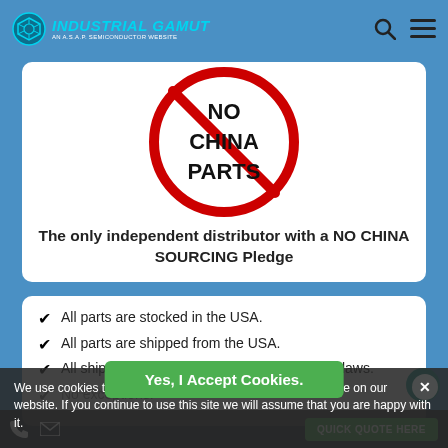INDUSTRIAL GAMUT — AN A.S.A.P. SEMICONDUCTOR WEBSITE
[Figure (illustration): NO CHINA PARTS prohibition sign — red circle with diagonal slash over text 'NO CHINA PARTS']
The only independent distributor with a NO CHINA SOURCING Pledge
All parts are stocked in the USA.
All parts are shipped from the USA.
All shipments must comply with U.S.A export laws.
No exceptions.
We use cookies to ensure that we give you the best experience on our website. If you continue to use this site we will assume that you are happy with it.
Yes, I Accept Cookies.
AS9120B, ISO 9001:2015, and FAA 0056B Accredited  QUICK QUOTE HERE